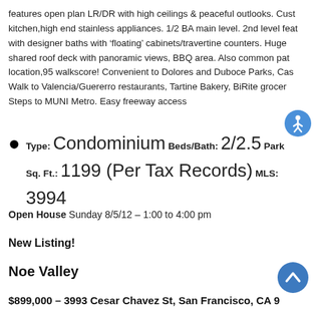features open plan LR/DR with high ceilings & peaceful outlooks. Cust kitchen,high end stainless appliances. 1/2 BA main level. 2nd level feat with designer baths with ‘floating’ cabinets/travertine counters. Huge shared roof deck with panoramic views, BBQ area. Also common pat location,95 walkscore! Convenient to Dolores and Duboce Parks, Cas Walk to Valencia/Guererro restaurants, Tartine Bakery, BiRite grocer Steps to MUNI Metro. Easy freeway access
Type: Condominium Beds/Bath: 2/2.5 Park Sq. Ft.: 1199 (Per Tax Records) MLS: 3994
Open House Sunday 8/5/12 – 1:00 to 4:00 pm
New Listing!
Noe Valley
$899,000 – 3993 Cesar Chavez St, San Francisco, CA 9